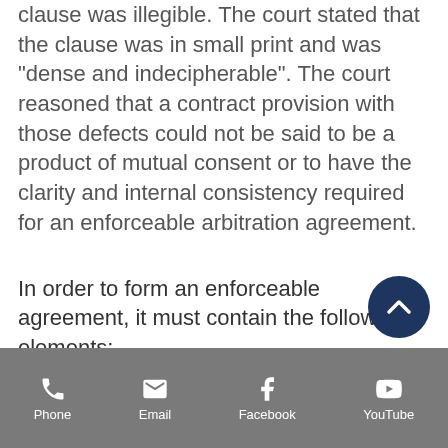clause was illegible. The court stated that the clause was in small print and was "dense and indecipherable". The court reasoned that a contract provision with those defects could not be said to be a product of mutual consent or to have the clarity and internal consistency required for an enforceable arbitration agreement.
In order to form an enforceable agreement, it must contain the following elements: (1) an offer, (2) acceptance of the offer, (3) consideration, (meaning something of value being
[Figure (other): Scroll-to-top button: dark navy circle with white chevron/arrow pointing up]
Phone  Email  Facebook  YouTube